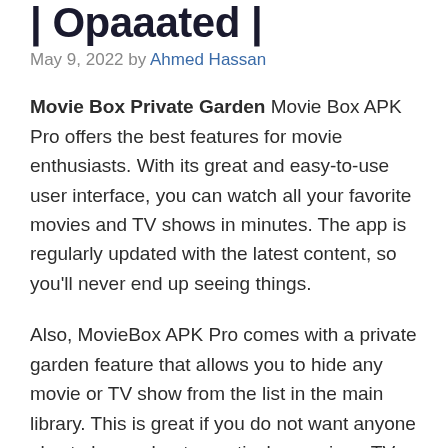| Opaaated |
May 9, 2022 by Ahmed Hassan
Movie Box Private Garden Movie Box APK Pro offers the best features for movie enthusiasts. With its great and easy-to-use user interface, you can watch all your favorite movies and TV shows in minutes. The app is regularly updated with the latest content, so you'll never end up seeing things.
Also, MovieBox APK Pro comes with a private garden feature that allows you to hide any movie or TV show from the list in the main library. This is great if you do not want anyone else to know about a particular movie or TV show you are watching. All in all, MovieBox APK Pro is a must